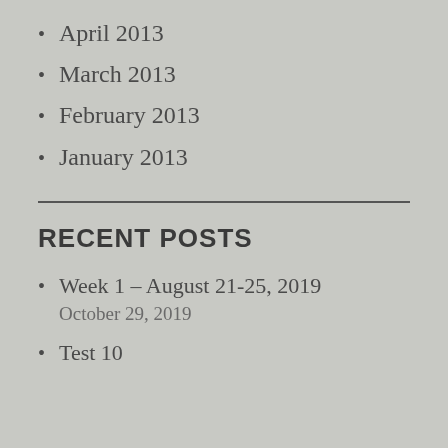April 2013
March 2013
February 2013
January 2013
RECENT POSTS
Week 1 – August 21-25, 2019
October 29, 2019
Test 10